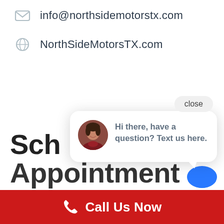info@northsidemotorstx.com
NorthSideMotorsTX.com
[Figure (screenshot): Chat popup widget with avatar photo of a woman, text reading 'Hi there, have a question? Text us here.' and a close button above it]
Sch
Appointment
Call Us Now